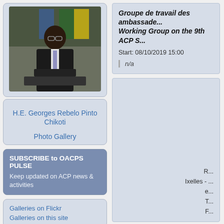[Figure (photo): H.E. Georges Rebelo Pinto Chikoti speaking at a podium with flags in background]
H.E. Georges Rebelo Pinto Chikoti
Photo Gallery
SUBSCRIBE to OACPS PULSE
Keep updated on ACP news & activities
Galleries on Flickr
Galleries on this site
Announcements
International call for tenders for
Groupe de travail des ambassade... Working Group on the 9th ACP S...
Start: 08/10/2019 15:00
n/a
R... Ixelles - ... e... T... F...